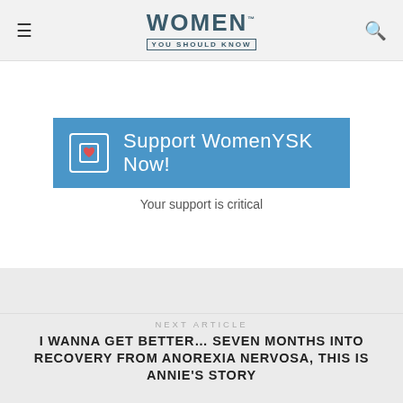WOMEN YOU SHOULD KNOW
[Figure (infographic): Support WomenYSK Now! button with heart icon on blue background, with tagline 'Your support is critical']
Your support is critical
PREVIOUS ARTICLE
5 TOOLS TO PLANT THE SEEDS OF GREATNESS IN YOUR LIFE
NEXT ARTICLE
I WANNA GET BETTER… SEVEN MONTHS INTO RECOVERY FROM ANOREXIA NERVOSA, THIS IS ANNIE'S STORY